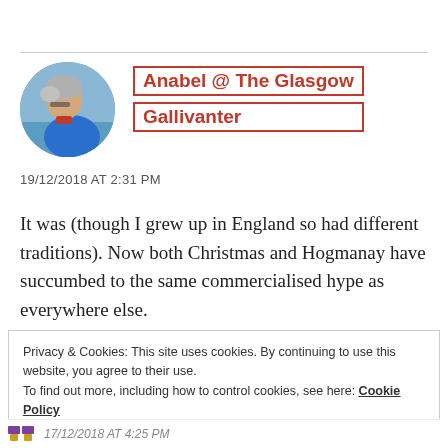[Figure (photo): Circular avatar photo of a person in a blue jacket viewed from the side, with grey/white hair, outdoors near water]
Anabel @ The Glasgow Gallivanter
19/12/2018 AT 2:31 PM
It was (though I grew up in England so had different traditions). Now both Christmas and Hogmanay have succumbed to the same commercialised hype as everywhere else.
Privacy & Cookies: This site uses cookies. By continuing to use this website, you agree to their use.
To find out more, including how to control cookies, see here: Cookie Policy
Close and accept
17/12/2018 AT 4:25 PM